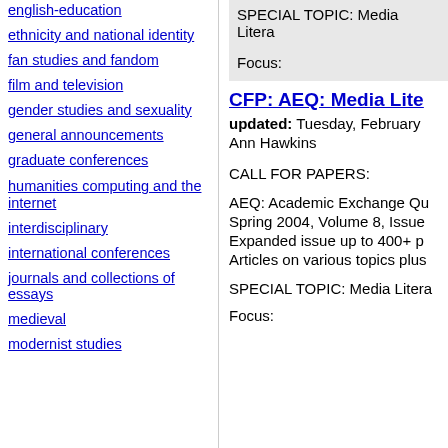english-education
ethnicity and national identity
fan studies and fandom
film and television
gender studies and sexuality
general announcements
graduate conferences
humanities computing and the internet
interdisciplinary
international conferences
journals and collections of essays
medieval
modernist studies
SPECIAL TOPIC: Media Litera...
Focus:
CFP: AEQ: Media Lite...
updated: Tuesday, February ...
Ann Hawkins
CALL FOR PAPERS:
AEQ: Academic Exchange Qua...
Spring 2004, Volume 8, Issue ...
Expanded issue up to 400+ p...
Articles on various topics plus...
SPECIAL TOPIC: Media Litera...
Focus: